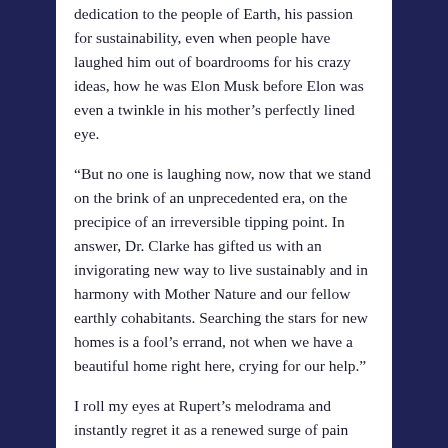dedication to the people of Earth, his passion for sustainability, even when people have laughed him out of boardrooms for his crazy ideas, how he was Elon Musk before Elon was even a twinkle in his mother's perfectly lined eye.
“But no one is laughing now, now that we stand on the brink of an unprecedented era, on the precipice of an irreversible tipping point. In answer, Dr. Clarke has gifted us with an invigorating new way to live sustainably and in harmony with Mother Nature and our fellow earthly cohabitants. Searching the stars for new homes is a fool’s errand, not when we have a beautiful home right here, crying for our help.”
I roll my eyes at Rupert’s melodrama and instantly regret it as a renewed surge of pain pings inside my dehydrated skull. I again promise myself I will never drink another martini as long as I live.
“You remember what I told you?” Grandfather leans over and asks under his minty breath.
“About what?”